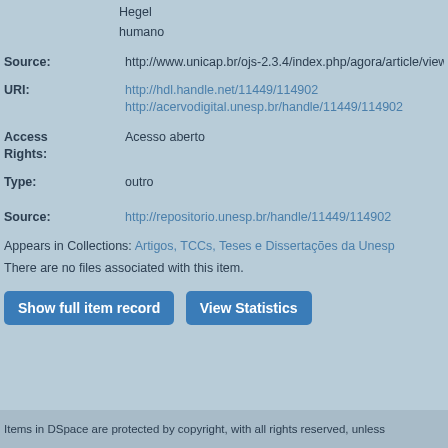Hegel
humano
Source: http://www.unicap.br/ojs-2.3.4/index.php/agora/article/view/169
URI: http://hdl.handle.net/11449/114902
http://acervodigital.unesp.br/handle/11449/114902
Access Rights: Acesso aberto
Type: outro
Source: http://repositorio.unesp.br/handle/11449/114902
Appears in Collections: Artigos, TCCs, Teses e Dissertações da Unesp
There are no files associated with this item.
Show full item record   View Statistics
Items in DSpace are protected by copyright, with all rights reserved, unless